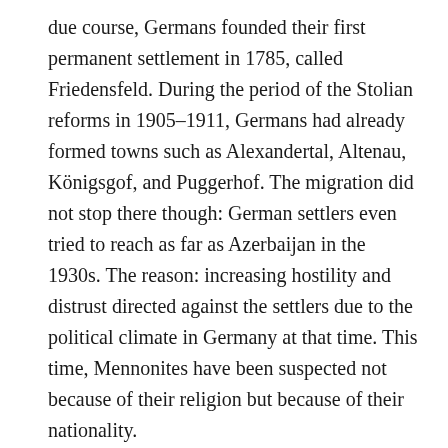due course, Germans founded their first permanent settlement in 1785, called Friedensfeld. During the period of the Stolian reforms in 1905–1911, Germans had already formed towns such as Alexandertal, Altenau, Königsgof, and Puggerhof. The migration did not stop there though: German settlers even tried to reach as far as Azerbaijan in the 1930s. The reason: increasing hostility and distrust directed against the settlers due to the political climate in Germany at that time. This time, Mennonites have been suspected not because of their religion but because of their nationality.
History is rarely kind, and World War II is known for its forceful relocations within the Soviet Union. Most of the Germans were offspring of Volga Germans,